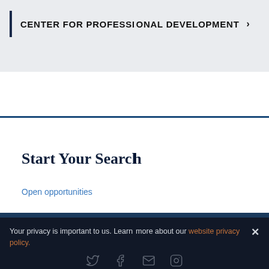CENTER FOR PROFESSIONAL DEVELOPMENT
Start Your Search
Open opportunities
Your privacy is important to us. Learn more about our website privacy policy.